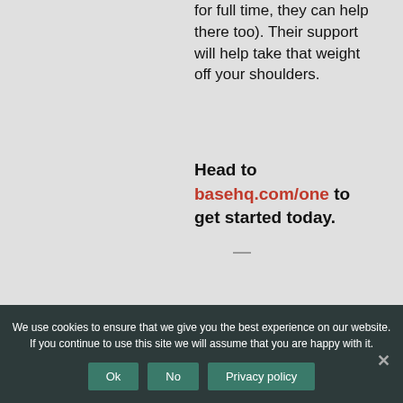for full time, they can help there too). Their support will help take that weight off your shoulders.
Head to basehq.com/one to get started today.
—
Hiring is challenging — but you don't have to do it all by yourself!
We use cookies to ensure that we give you the best experience on our website. If you continue to use this site we will assume that you are happy with it.